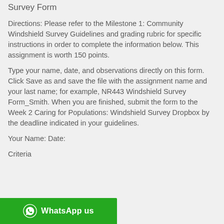Survey Form
Directions: Please refer to the Milestone 1: Community Windshield Survey Guidelines and grading rubric for specific instructions in order to complete the information below. This assignment is worth 150 points.
Type your name, date, and observations directly on this form. Click Save as and save the file with the assignment name and your last name; for example, NR443 Windshield Survey Form_Smith. When you are finished, submit the form to the Week 2 Caring for Populations: Windshield Survey Dropbox by the deadline indicated in your guidelines.
Your Name: Date:
Criteria
[Figure (other): WhatsApp us button - green banner at bottom of page]